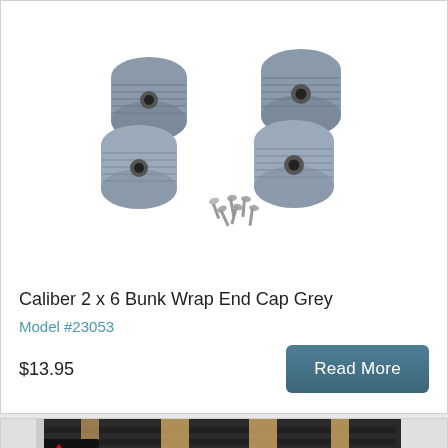[Figure (photo): Grey plastic bunk wrap end caps (4 pieces) with screws/hardware, shown on white background]
Caliber 2 x 6 Bunk Wrap End Cap Grey
Model #23053
$13.95
[Figure (photo): Roller bunk / carpet bunk assembly showing dark grey rollers with tan/wooden inserts and red loops, silver rail visible]